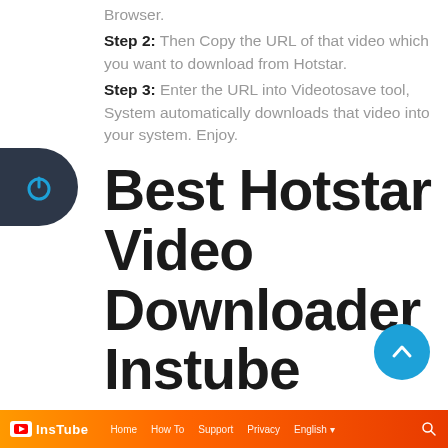Browser.
Step 2: Then Copy the URL of that video which you want to download from Hotstar.
Step 3: Enter the URL into Videotosave tool, System automatically downloads that video into your system. Enjoy.
Best Hotstar Video Downloader Instube
[Figure (screenshot): InsTube website banner with orange gradient background showing logo and navigation links]